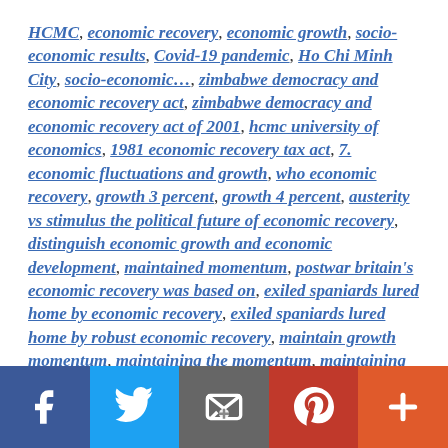HCMC, economic recovery, economic growth, socio-economic results, Covid-19 pandemic, Ho Chi Minh City, socio-economic…, zimbabwe democracy and economic recovery act, zimbabwe democracy and economic recovery act of 2001, hcmc university of economics, 1981 economic recovery tax act, 7. economic fluctuations and growth, who economic recovery, growth 3 percent, growth 4 percent, austerity vs stimulus the political future of economic recovery, distinguish economic growth and economic development, maintained momentum, postwar britain's economic recovery was based on, exiled spaniards lured home by economic recovery, exiled spaniards lured home by robust economic recovery, maintain growth momentum, maintaining the momentum, maintaining momentum to, post recession economic recovery, gdp growth 4
Facebook | Twitter | Email | Pinterest | More